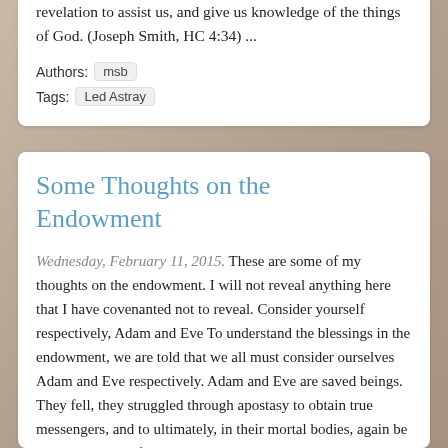revelation to assist us, and give us knowledge of the things of God. (Joseph Smith, HC 4:34) ...
Authors: msb
Tags: Led Astray
Some Thoughts on the Endowment
Wednesday, February 11, 2015. These are some of my thoughts on the endowment. I will not reveal anything here that I have covenanted not to reveal. Consider yourself respectively, Adam and Eve To understand the blessings in the endowment, we are told that we all must consider ourselves Adam and Eve respectively. Adam and Eve are saved beings. They fell, they struggled through apostasy to obtain true messengers, and to ultimately, in their mortal bodies, again be in the presence of